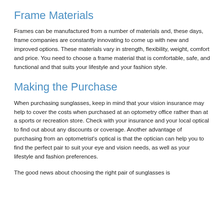Frame Materials
Frames can be manufactured from a number of materials and, these days, frame companies are constantly innovating to come up with new and improved options. These materials vary in strength, flexibility, weight, comfort and price. You need to choose a frame material that is comfortable, safe, and functional and that suits your lifestyle and your fashion style.
Making the Purchase
When purchasing sunglasses, keep in mind that your vision insurance may help to cover the costs when purchased at an optometry office rather than at a sports or recreation store. Check with your insurance and your local optical to find out about any discounts or coverage. Another advantage of purchasing from an optometrist's optical is that the optician can help you to find the perfect pair to suit your eye and vision needs, as well as your lifestyle and fashion preferences.
The good news about choosing the right pair of sunglasses is